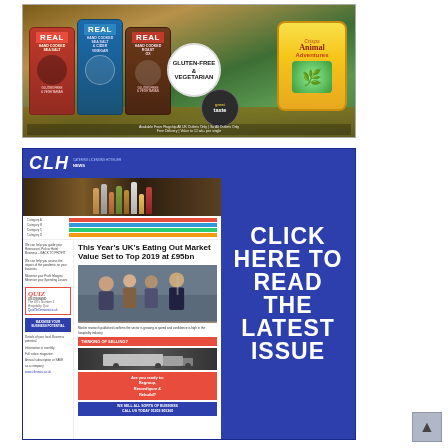[Figure (photo): Advertisement for REAL Hand Cooked crisps (Sea Salt, Sea Salt & Cider Vinegar, Roast Ox) and Animal Adventures snacks, with Gluten-Free & Vegetarian badge and Great Taste award circle]
[Figure (photo): CLH News advertisement showing a magazine front page with headline 'This Year's UK's Eating Out Market Value Set to Top 2019 at £95bn' with blue right panel reading 'CLICK HERE TO READ THE LATEST ISSUE']